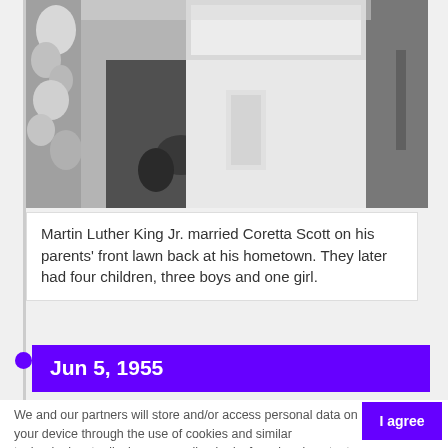[Figure (photo): Black and white photograph of Martin Luther King Jr. and Coretta Scott at their wedding, partially visible torsos and hands]
Martin Luther King Jr. married Coretta Scott on his parents' front lawn back at his hometown. They later had four children, three boys and one girl.
Jun 5, 1955
We and our partners will store and/or access personal data on your device through the use of cookies and similar technologies, to display personalised ads, for ad and content measurement, audience insights and product development.

By clicking 'I agree,' you consent to this, or you can manage your preferences.